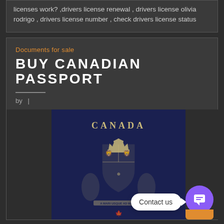licenses work? ,drivers license renewal , drivers license olivia rodrigo , drivers license number , check drivers license status
Documents for sale
BUY CANADIAN PASSPORT
by  |
[Figure (photo): Photo of a navy blue Canadian passport cover showing the word CANADA at the top and the Canadian coat of arms emblem below it in gold/tan coloring.]